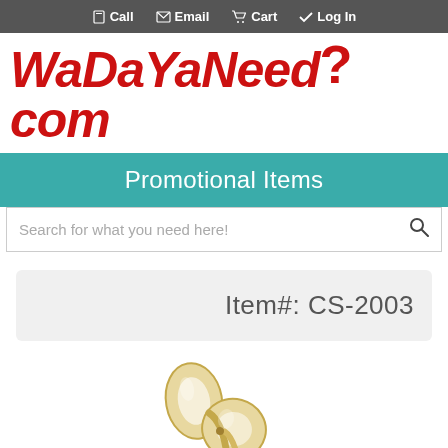Call  Email  Cart  Log In
WaDaYaNeed?.com
Promotional Items
Search for what you need here!
Item#: CS-2003
[Figure (photo): Gold/metallic scissors partially visible at bottom of page]